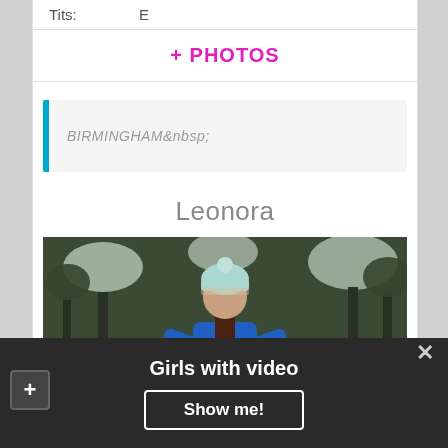Tits: E
+ PHOTOS
BIRMINGHAM&nbsp;
Leonora
[Figure (photo): Woman with brown hair wearing a light blue knit beanie and blue jacket, seen from behind, standing in a snowy forest with snow-covered trees]
Girls with video
Show me!